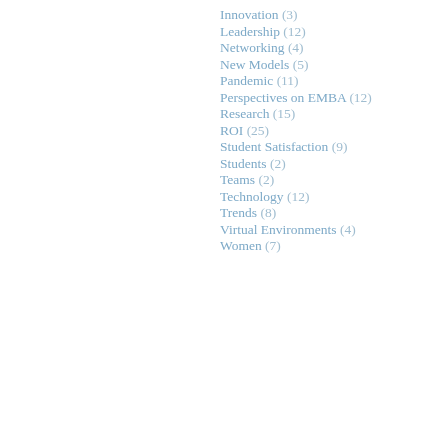Innovation (3)
Leadership (12)
Networking (4)
New Models (5)
Pandemic (11)
Perspectives on EMBA (12)
Research (15)
ROI (25)
Student Satisfaction (9)
Students (2)
Teams (2)
Technology (12)
Trends (8)
Virtual Environments (4)
Women (7)